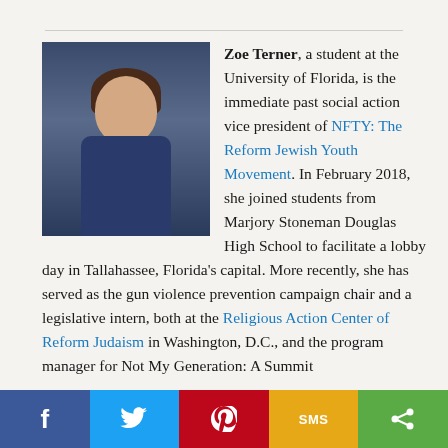[Figure (photo): Portrait photo of Zoe Terner, a young woman with brown hair, smiling, wearing a dark blue patterned top, with a blurred indoor background]
Zoe Terner, a student at the University of Florida, is the immediate past social action vice president of NFTY: The Reform Jewish Youth Movement. In February 2018, she joined students from Marjory Stoneman Douglas High School to facilitate a lobby day in Tallahassee, Florida's capital. More recently, she has served as the gun violence prevention campaign chair and a legislative intern, both at the Religious Action Center of Reform Judaism in Washington, D.C., and the program manager for Not My Generation: A Summit
[Figure (infographic): Social media sharing bar with buttons for Facebook, Twitter, Pinterest, SMS, and Share]